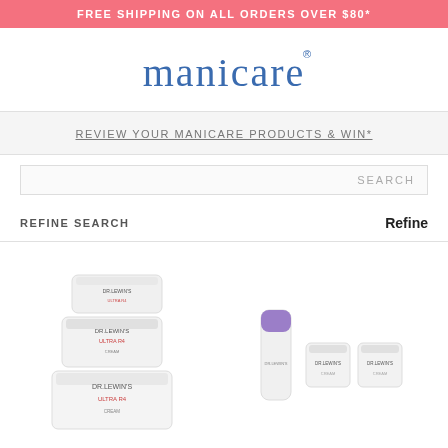FREE SHIPPING ON ALL ORDERS OVER $80*
[Figure (logo): Manicare logo in blue script font with registered trademark symbol]
REVIEW YOUR MANICARE PRODUCTS & WIN*
SEARCH
REFINE SEARCH
Refine
[Figure (photo): Three stacked Dr LeWinn's Ultra R4 skincare cream jars in white packaging]
[Figure (photo): Dr LeWinn's skincare set with purple-capped stick and two small cream jars]